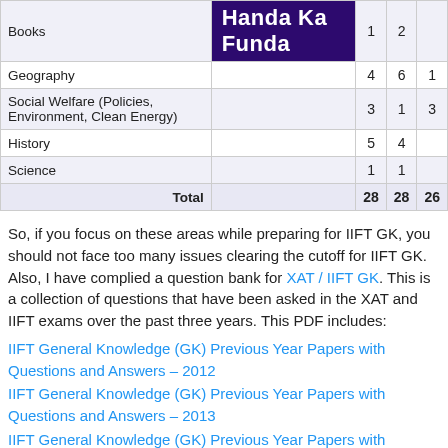|  |  |  |  |
| --- | --- | --- | --- |
| Books | Handa Ka Funda | 1 | 2 |  |
| Geography |  | 4 | 6 | 1 |
| Social Welfare (Policies, Environment, Clean Energy) |  | 3 | 1 | 3 |
| History |  | 5 | 4 |  |
| Science |  | 1 | 1 |  |
| Total |  | 28 | 28 | 26 |
So, if you focus on these areas while preparing for IIFT GK, you should not face too many issues clearing the cutoff for IIFT GK. Also, I have complied a question bank for XAT / IIFT GK. This is a collection of questions that have been asked in the XAT and IIFT exams over the past three years. This PDF includes:
IIFT General Knowledge (GK) Previous Year Papers with Questions and Answers – 2012
IIFT General Knowledge (GK) Previous Year Papers with Questions and Answers – 2013
IIFT General Knowledge (GK) Previous Year Papers with Questions and Answers – 2014
IIFT General Knowledge (GK) Previous Year Papers with